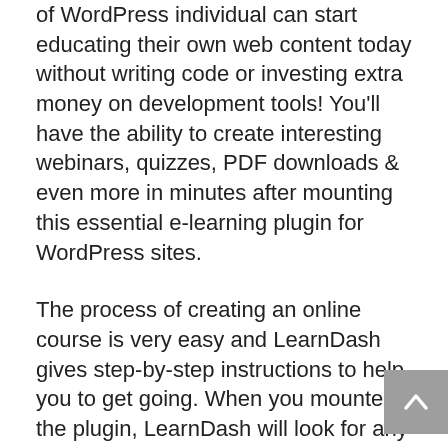of WordPress individual can start educating their own web content today without writing code or investing extra money on development tools! You'll have the ability to create interesting webinars, quizzes, PDF downloads & even more in minutes after mounting this essential e-learning plugin for WordPress sites.
The process of creating an online course is very easy and LearnDash gives step-by-step instructions to help you to get going. When you mounted the plugin, LearnDash will look for any required plugins. It's ideal to install all the suggested WordPress plugins to ensure your course works appropriately on LearnDash.